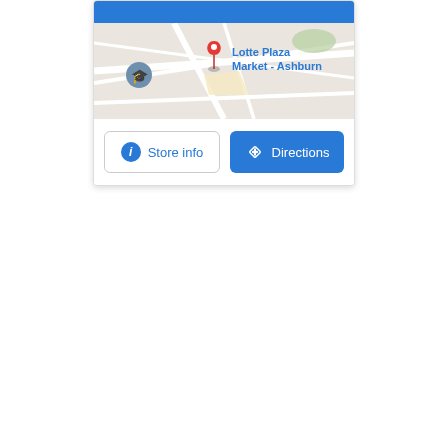[Figure (screenshot): Google Maps screenshot showing a map with a red pin marker at Lotte Plaza Market - Ashburn location, with a blue bar at top, a map view, and two buttons: Store info and Directions]